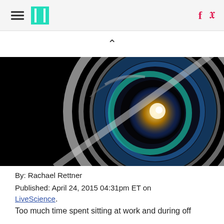HuffPost navigation with hamburger menu, logo, facebook and twitter icons
[Figure (photo): Close-up photograph of a camera lens on black background, showing concentric circular lens elements with blue and yellow-golden light reflections, and a diagonal lens flare across the image]
By: Rachael Rettner
Published: April 24, 2015 04:31pm ET on LiveScience.
Too much time spent sitting at work and during off